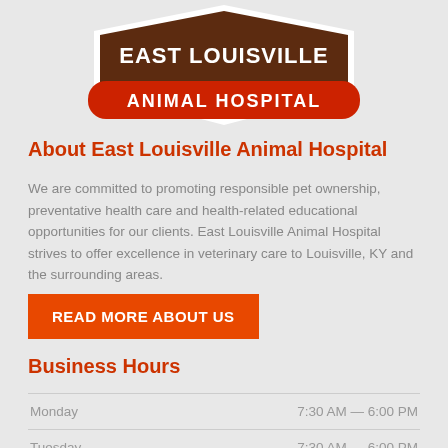[Figure (logo): East Louisville Animal Hospital logo — brown shield with white text 'EAST LOUISVILLE' and red banner with white text 'ANIMAL HOSPITAL']
About East Louisville Animal Hospital
We are committed to promoting responsible pet ownership, preventative health care and health-related educational opportunities for our clients. East Louisville Animal Hospital strives to offer excellence in veterinary care to Louisville, KY and the surrounding areas.
READ MORE ABOUT US
Business Hours
| Day | Hours |
| --- | --- |
| Monday | 7:30 AM — 6:00 PM |
| Tuesday | 7:30 AM — 6:00 PM |
| Wednesday | 7:30 AM — 6:00 PM |